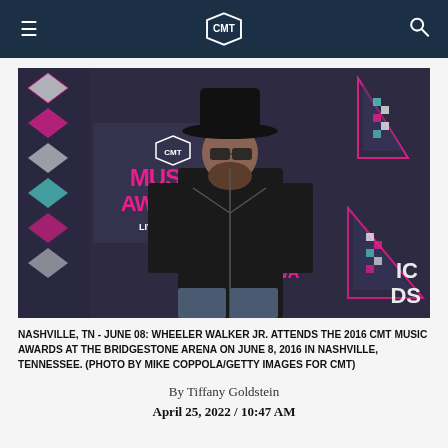CMT
[Figure (photo): Wheeler Walker Jr. posing at the 2016 CMT Music Awards red carpet backdrop, wearing a black cowboy hat, sunglasses, and a black western shirt with white stitching detail.]
NASHVILLE, TN - JUNE 08: WHEELER WALKER JR. ATTENDS THE 2016 CMT MUSIC AWARDS AT THE BRIDGESTONE ARENA ON JUNE 8, 2016 IN NASHVILLE, TENNESSEE. (PHOTO BY MIKE COPPOLA/GETTY IMAGES FOR CMT)
By Tiffany Goldstein
April 25, 2022 / 10:47 AM